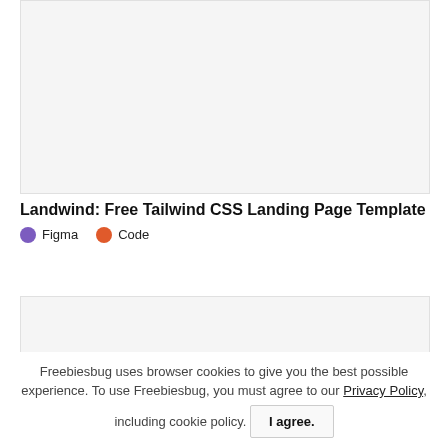[Figure (screenshot): Light gray placeholder image area at the top of the page]
Landwind: Free Tailwind CSS Landing Page Template
Figma  Code
[Figure (screenshot): Light gray placeholder image area in the middle of the page]
Freebiesbug uses browser cookies to give you the best possible experience. To use Freebiesbug, you must agree to our Privacy Policy, including cookie policy. I agree.